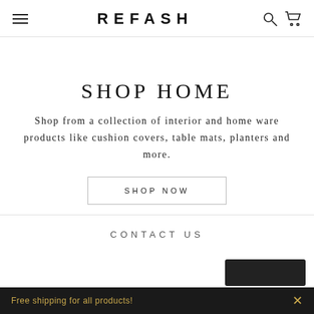REFASH
SHOP HOME
Shop from a collection of interior and home ware products like cushion covers, table mats, planters and more.
SHOP NOW
CONTACT US
Free shipping for all products!